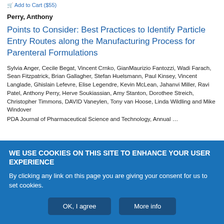Add to Cart ($55)
Perry, Anthony
Points to Consider: Best Practices to Identify Particle Entry Routes along the Manufacturing Process for Parenteral Formulations
Sylvia Anger, Cecile Begat, Vincent Crnko, GianMaurizio Fantozzi, Wadi Farach, Sean Fitzpatrick, Brian Gallagher, Stefan Huelsmann, Paul Kinsey, Vincent Langlade, Ghislain Lefevre, Elise Legendre, Kevin McLean, Jahanvi Miller, Ravi Patel, Anthony Perry, Herve Soukiassian, Amy Stanton, Dorothee Streich, Christopher Timmons, DAVID Vaneylen, Tony van Hoose, Linda Wildling and Mike Windover
WE USE COOKIES ON THIS SITE TO ENHANCE YOUR USER EXPERIENCE
By clicking any link on this page you are giving your consent for us to set cookies.
OK, I agree
More info